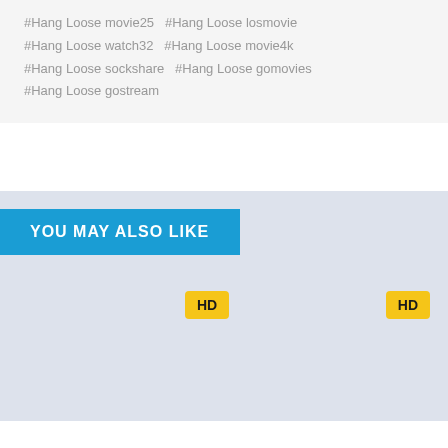#Hang Loose movie25  #Hang Loose losmovie  #Hang Loose watch32  #Hang Loose movie4k  #Hang Loose sockshare  #Hang Loose gomovies  #Hang Loose gostream
YOU MAY ALSO LIKE
[Figure (other): HD badge label (yellow background) on left movie card placeholder]
[Figure (other): HD badge label (yellow background) on right movie card placeholder]